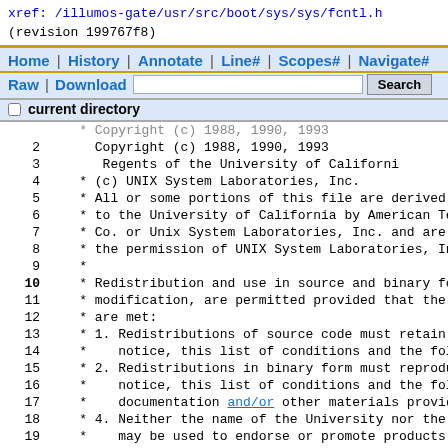xref: /illumos-gate/usr/src/boot/sys/sys/fcntl.h
(revision 199767f8)
Home | History | Annotate | Line# | Scopes# | Navigate# | Raw | Download [Search button]
current directory checkbox
Source code lines 2-26: Copyright notice and BSD license header for fcntl.h